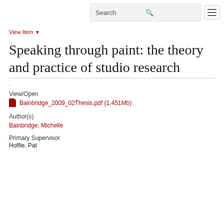Search [search icon] [menu icon]
View Item ▼
Speaking through paint: the theory and practice of studio research
·
View/Open
Bainbridge_2009_02Thesis.pdf (1.451Mb)
Author(s)
Bainbridge, Michelle
Primary Supervisor
Hoffie, Pat